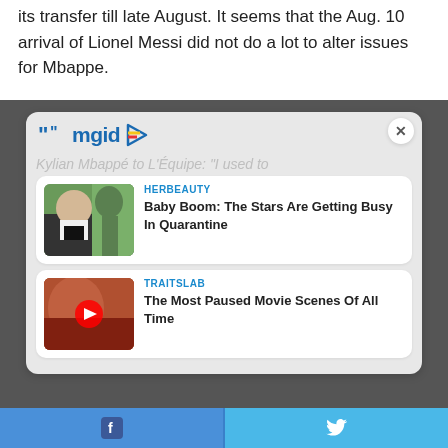its transfer till late August. It seems that the Aug. 10 arrival of Lionel Messi did not do a lot to alter issues for Mbappe.
[Figure (screenshot): MGID ad widget showing two sponsored content cards: 1) HERBEAUTY - Baby Boom: The Stars Are Getting Busy In Quarantine, 2) TRAITSLAB - The Most Paused Movie Scenes Of All Time. Widget has a close X button and watermark text partially visible.]
[Figure (other): Share bar at the bottom with Facebook and Twitter share buttons]